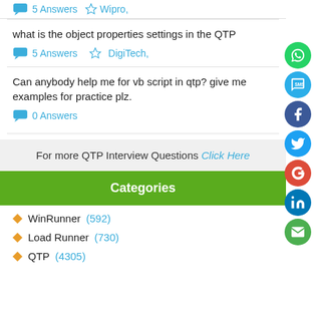5 Answers   Wipro,
what is the object properties settings in the QTP
5 Answers   DigiTech,
Can anybody help me for vb script in qtp? give me examples for practice plz.
0 Answers
For more QTP Interview Questions Click Here
Categories
WinRunner (592)
Load Runner (730)
QTP (4305)